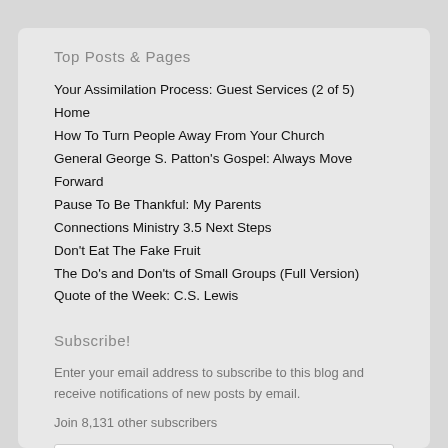Top Posts & Pages
Your Assimilation Process: Guest Services (2 of 5)
Home
How To Turn People Away From Your Church
General George S. Patton's Gospel: Always Move Forward
Pause To Be Thankful: My Parents
Connections Ministry 3.5 Next Steps
Don't Eat The Fake Fruit
The Do's and Don'ts of Small Groups (Full Version)
Quote of the Week: C.S. Lewis
Subscribe!
Enter your email address to subscribe to this blog and receive notifications of new posts by email.
Join 8,131 other subscribers